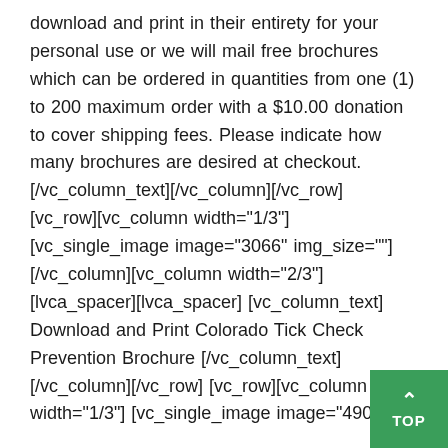download and print in their entirety for your personal use or we will mail free brochures which can be ordered in quantities from one (1) to 200 maximum order with a $10.00 donation to cover shipping fees. Please indicate how many brochures are desired at checkout. [/vc_column_text][/vc_column][/vc_row] [vc_row][vc_column width="1/3"] [vc_single_image image="3066" img_size=""][/vc_column][vc_column width="2/3"][lvca_spacer][lvca_spacer] [vc_column_text] Download and Print Colorado Tick Check Prevention Brochure [/vc_column_text][/vc_column][/vc_row] [vc_row][vc_column width="1/3"] [vc_single_image image="4903"